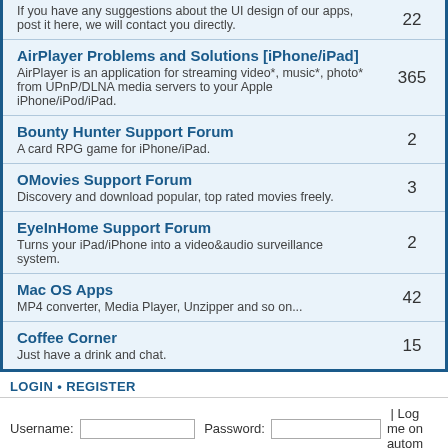| Forum | Topics |
| --- | --- |
| AirPlayer Problems and Solutions [iPhone/iPad]
AirPlayer is an application for streaming video*, music*, photo* from UPnP/DLNA media servers to your Apple iPhone/iPod/iPad. | 365 |
| Bounty Hunter Support Forum
A card RPG game for iPhone/iPad. | 2 |
| OMovies Support Forum
Discovery and download popular, top rated movies freely. | 3 |
| EyeInHome Support Forum
Turns your iPad/iPhone into a video&audio surveillance system. | 2 |
| Mac OS Apps
MP4 converter, Media Player, Unzipper and so on... | 42 |
| Coffee Corner
Just have a drink and chat. | 15 |
LOGIN • REGISTER
Username:    Password:    | Log me on autom
WHO IS ONLINE
In total there are 23 users online :: 0 registered, 0 hidden and 23 guests (based on users)
Most users ever online was 331 on Mon Dec 17, 2018 4:37 am
Registered users: No registered users
Legend: Administrators, Global moderators